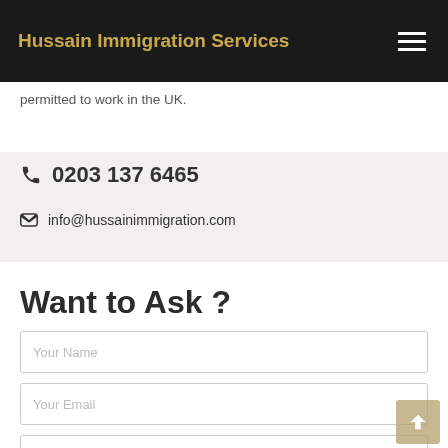Hussain Immigration Services
permitted to work in the UK.
☎ 0203 137 6465
✉ info@hussainimmigration.com
Want to Ask ?
Your Name
Your Email
Subject